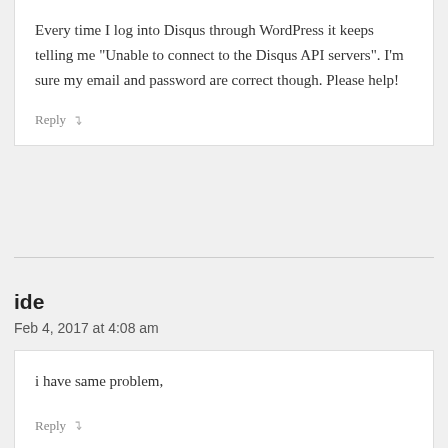Every time I log into Disqus through WordPress it keeps telling me “Unable to connect to the Disqus API servers”. I’m sure my email and password are correct though. Please help!
Reply ↴
ide
Feb 4, 2017 at 4:08 am
i have same problem,
Reply ↴